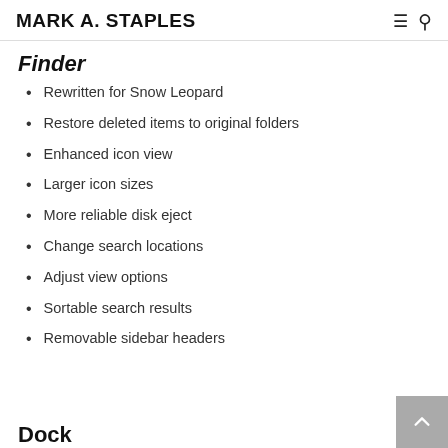MARK A. STAPLES
Finder
Rewritten for Snow Leopard
Restore deleted items to original folders
Enhanced icon view
Larger icon sizes
More reliable disk eject
Change search locations
Adjust view options
Sortable search results
Removable sidebar headers
Dock